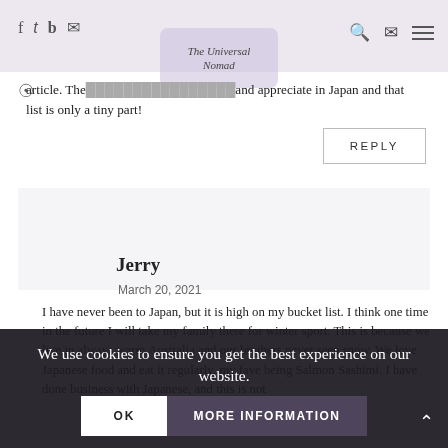The Universal Nomad — blog page header with social icons and navigation
article. The … and appreciate in Japan and that list is only a tiny part!
REPLY
Jerry
March 20, 2021
I have never been to Japan, but it is high on my bucket list. I think one time in the future I will take my family there for winter sport. This is because we live in always warm Australia and our brothers never seen snow. We love Japanese food and eat it regularly, my fave being Salmon Sashimi. I have done business with Japanese, and this is not
We use cookies to ensure you get the best experience on our website.
OK
MORE INFORMATION